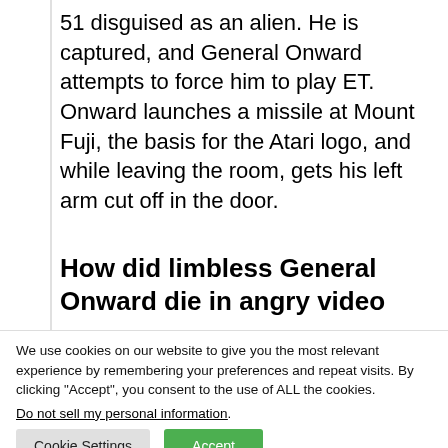51 disguised as an alien. He is captured, and General Onward attempts to force him to play ET. Onward launches a missile at Mount Fuji, the basis for the Atari logo, and while leaving the room, gets his left arm cut off in the door.
How did limbless General Onward die in angry video
We use cookies on our website to give you the most relevant experience by remembering your preferences and repeat visits. By clicking “Accept”, you consent to the use of ALL the cookies.
Do not sell my personal information.